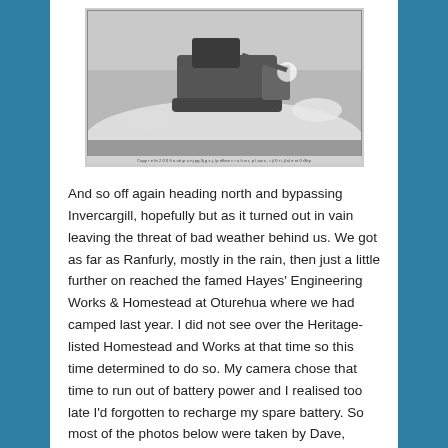[Figure (photo): A black and white photograph showing a bulldozer or heavy machinery working in snowy or icy terrain, displayed as a framed print mounted on a light-coloured wall. A small caption text runs along the bottom of the photograph.]
And so off again heading north and bypassing Invercargill, hopefully but as it turned out in vain leaving the threat of bad weather behind us. We got as far as Ranfurly, mostly in the rain, then just a little further on reached the famed Hayes' Engineering Works & Homestead at Oturehua where we had camped last year. I did not see over the Heritage-listed Homestead and Works at that time so this time determined to do so. My camera chose that time to run out of battery power and I realised too late I'd forgotten to recharge my spare battery. So most of the photos below were taken by Dave, some at my direction. The cafe people very kindly allowed me to recharge both batteries in the cafe; we did not need any excuse to return repeatedly to the place, the food there is really delicious